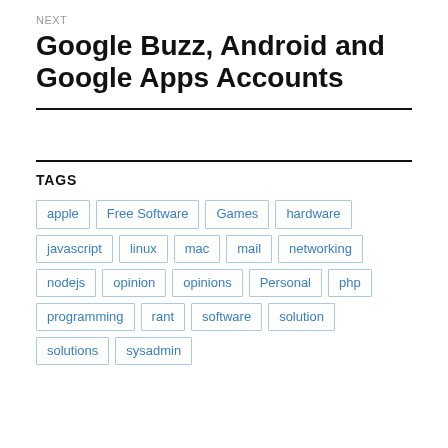NEXT
Google Buzz, Android and Google Apps Accounts
TAGS
apple
Free Software
Games
hardware
javascript
linux
mac
mail
networking
nodejs
opinion
opinions
Personal
php
programming
rant
software
solution
solutions
sysadmin